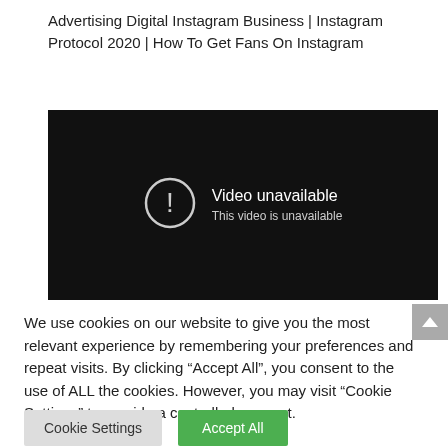Advertising Digital Instagram Business | Instagram Protocol 2020 | How To Get Fans On Instagram
[Figure (screenshot): Dark video player showing 'Video unavailable' message with an exclamation mark circle icon. Subtitle reads 'This video is unavailable'.]
We use cookies on our website to give you the most relevant experience by remembering your preferences and repeat visits. By clicking “Accept All”, you consent to the use of ALL the cookies. However, you may visit “Cookie Settings” to provide a controlled consent.